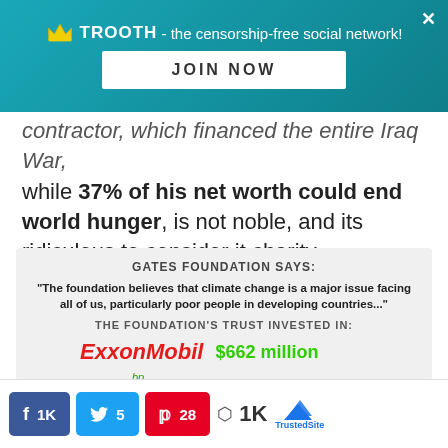[Figure (screenshot): TROOTH social network banner with crown logo, tagline 'the censorship-free social network!', JOIN NOW button, and close X button]
contractor, which financed the entire Iraq War, while 37% of his net worth could end world hunger, is not noble, and its ridiculous to consider it charity.
[Figure (infographic): Gates Foundation infographic showing quote about climate change and the foundation's trust investments in ExxonMobil ($662 million), BP ($17.8 million), and a partially visible third company]
[Figure (screenshot): Social share bar showing Facebook 1K shares, Twitter 5 shares, Pinterest 28 shares, and total 1K shares with TrustedSite badge]